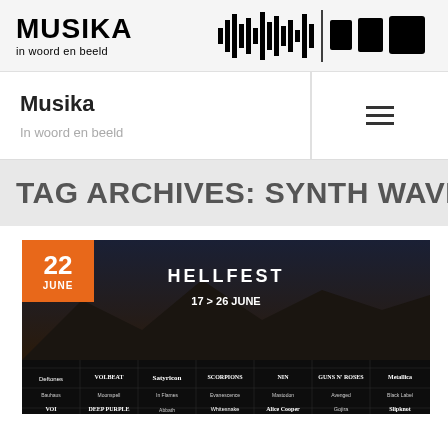[Figure (logo): Musika in woord en beeld logo with waveform graphic on the right]
Musika
In woord en beeld
TAG ARCHIVES: SYNTH WAVE
[Figure (photo): Hellfest festival poster showing 22 JUNE, 17>26 June dates, lineup including Deftones, Scorpions, NIN, Guns N Roses, Metallica, Deep Purple, Alice Cooper, Slipknot and more]